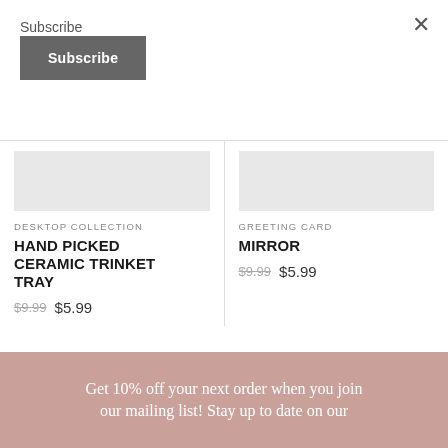Subscribe
Subscribe
×
[Figure (other): Product image placeholder for Hand Picked Ceramic Trinket Tray]
DESKTOP COLLECTION
HAND PICKED CERAMIC TRINKET TRAY
$9.99  $5.99
[Figure (other): Product image placeholder for Mirror]
GREETING CARD
MIRROR
$9.99  $5.99
Get 10% off your next order when you join our mailing list! Stay up to date on our